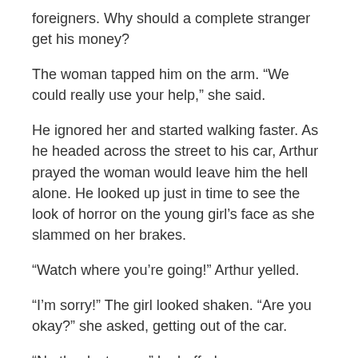foreigners.  Why should a complete stranger get his money?
The woman tapped him on the arm.   “We could really use your help,” she said.
He ignored her and started walking faster.  As he headed across the street to his car, Arthur prayed the woman would leave him the hell alone.  He looked up just in time to see the look of horror on the young girl’s face as she slammed on her brakes.
“Watch where you’re going!” Arthur yelled.
“I’m sorry!”  The girl looked shaken. “Are you okay?” she asked, getting out of the car.
“No thanks to you,” he huffed.
“I was just trying to help.” Arthur didn’t say anything and